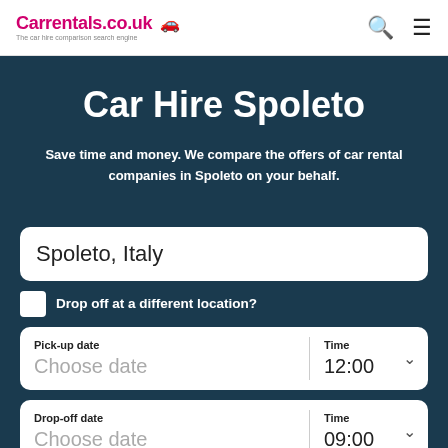Carrentals.co.uk 🚗 The car hire comparison search engine
Car Hire Spoleto
Save time and money. We compare the offers of car rental companies in Spoleto on your behalf.
Spoleto, Italy
Drop off at a different location?
Pick-up date | Choose date | Time | 12:00
Drop-off date | Choose date | Time | 09:00